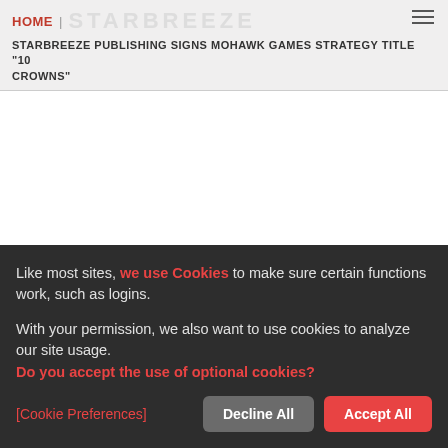HOME | STARBREEZE
STARBREEZE PUBLISHING SIGNS MOHAWK GAMES STRATEGY TITLE "10 CROWNS"
Like most sites, we use Cookies to make sure certain functions work, such as logins.

With your permission, we also want to use cookies to analyze our site usage.
Do you accept the use of optional cookies?
[Cookie Preferences]   Decline All   Accept All